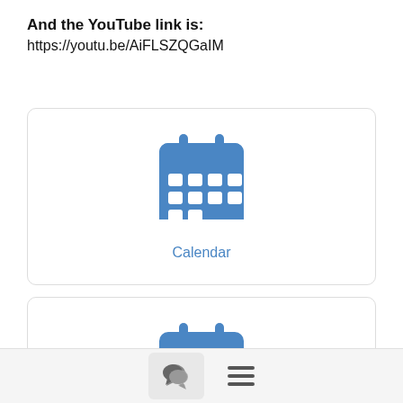And the YouTube link is:
https://youtu.be/AiFLSZQGaIM
[Figure (illustration): Calendar icon (blue) with label 'Calendar' below it, inside a rounded card]
[Figure (illustration): Calendar icon (blue) with label 'Calendar' below it, inside a rounded card]
[Figure (other): Footer bar with chat bubble icon button and hamburger menu icon]